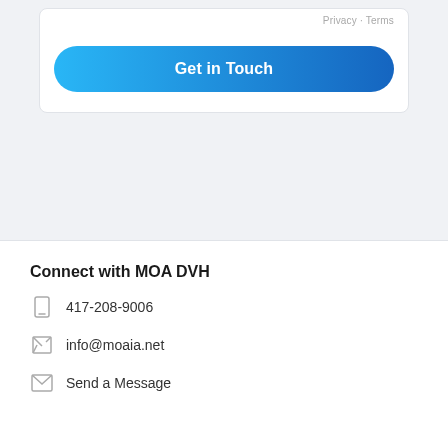[Figure (screenshot): Top portion of a web form card with a 'Get in Touch' button styled with a blue gradient and rounded corners, on a light gray background.]
Connect with MOA DVH
417-208-9006
info@moaia.net
Send a Message